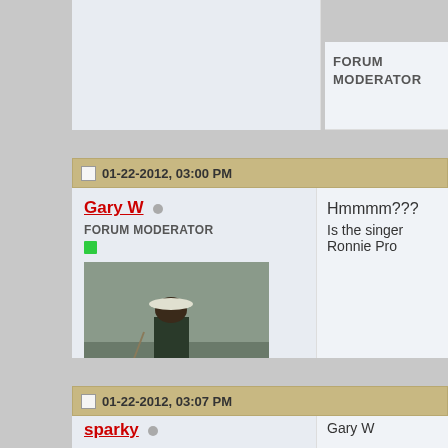FORUM MODERATOR
01-22-2012, 03:00 PM
Gary W
FORUM MODERATOR
Join Date: Apr 2011
Location: Nova Scotia, Canada
Posts: 694
Hmmmm???
Is the singer Ronnie Pro
FORUM MODERATOR
01-22-2012, 03:07 PM
sparky
Gary W